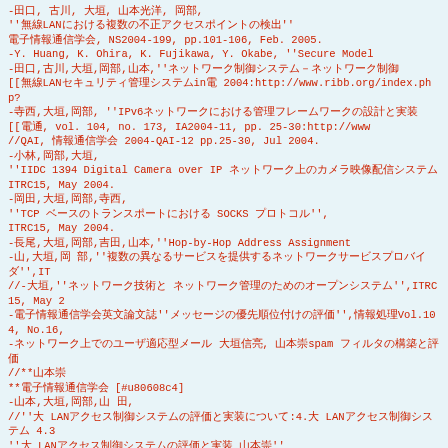-田口, 古川, 大垣, 山本光洋, 岡部,
''無線LANにおける複数の不正アクセスポイントの検出''
電子情報通信学会, NS2004-199, pp.101-106, Feb. 2005.
-Y. Huang, K. Ohira, K. Fujikawa, Y. Okabe, ''Secure Model
-田口,古川,大垣,岡部,山本,''ネットワーク制御システム－ネットワーク制御
[[無線LANセキュリティ管理システムin電 2004:http://www.ribb.org/index.php?
-寺西,大垣,岡部, ''IPv6ネットワークにおける管理フレームワークの設計と実装
[[電通, vol. 104, no. 173, IA2004-11, pp. 25-30:http://www
//QAI, 情報通信学会 2004-QAI-12 pp.25-30, Jul 2004.
-小林,岡部,大垣,
''IIDC 1394 Digital Camera over IP ネットワーク上のカメラ映像配信システム''
ITRC15, May 2004.
-岡田,大垣,岡部,寺西,
''TCP ベースのトランスポートにおける SOCKS プロトコル'',
ITRC15, May 2004.
-長尾,大垣,岡部,吉田,山本,''Hop-by-Hop Address Assignment
-山,大垣,岡 部,''複数の異なるサービスを提供するネットワークサービスプロバイダ'',IT
//-大垣,''ネットワーク技術と ネットワーク管理のためのオープンシステム'',ITRC15, May 2
-電子情報通信学会英文論文誌''メッセージの優先順位付けの評価'',情報処理Vol.104, No.16,
-ネットワーク上でのユーザ適応型メール 大垣信亮, 山本崇spam フィルタの構築と評価
//**山本崇
**電子情報通信学会 [#u80608c4]
-山本,大垣,岡部,山 田,
//''大 LANアクセス制御システムの評価と実装について:4.大 LANアクセス制御システム 4.3
''大 LANアクセス制御システムの評価と実装 山本崇''
情報処理学会, Vol.45 No.8, 831-835, Aug 2004.
-山本,大垣,岡部,
''LANアクセス制御システムの評価と実装について'',
情報処理学会誌, 第80巻5号, 382-389, May 2004.